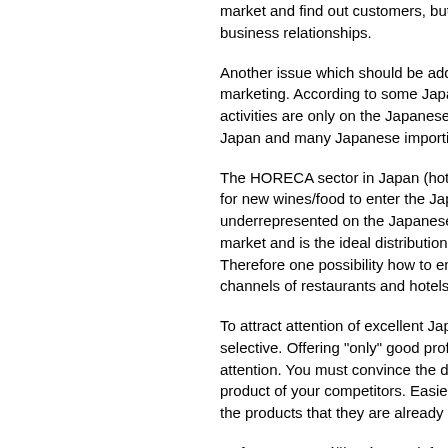market and find out customers, but providing a... business relationships.
Another issue which should be addressed is m... marketing. According to some Japanese impo... activities are only on the Japanese side. Howe... Japan and many Japanese importing compani...
The HORECA sector in Japan (hotels, restaura... for new wines/food to enter the Japanese marl... underrepresented on the Japanese market. Ge... market and is the ideal distribution channel for... Therefore one possibility how to enter food ma... channels of restaurants and hotels.
To attract attention of excellent Japanese distr... selective. Offering "only" good profit margins fo... attention. You must convince the distributor tha... product of your competitors. Easier way would... the products that they are already distributing.
Reference: Tomášková A." Brief Guide for Eur... Distributors in Japan", EU-Japan Centre for In...